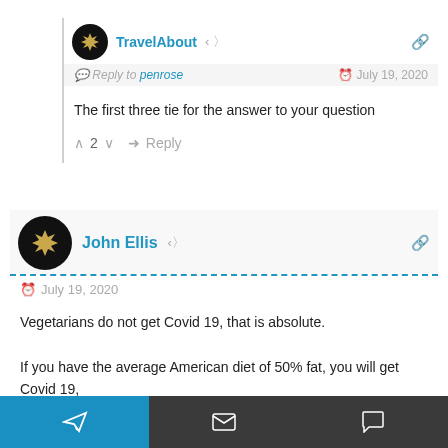TravelAbout — Reply to penrose — July 19, 2020
The first three tie for the answer to your question
↑ 2 ↓ → Reply
John Ellis — July 19, 2020
Vegetarians do not get Covid 19, that is absolute.
If you have the average American diet of 50% fat, you will get Covid 19,
that also is absolute.
↑ 0 ↓ → Reply